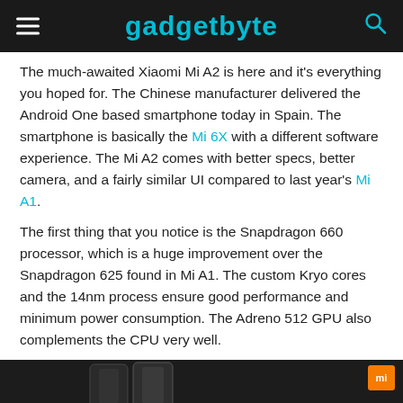gadgetbyte
The much-awaited Xiaomi Mi A2 is here and it’s everything you hoped for. The Chinese manufacturer delivered the Android One based smartphone today in Spain. The smartphone is basically the Mi 6X with a different software experience. The Mi A2 comes with better specs, better camera, and a fairly similar UI compared to last year’s Mi A1.
The first thing that you notice is the Snapdragon 660 processor, which is a huge improvement over the Snapdragon 625 found in Mi A1. The custom Kryo cores and the 14nm process ensure good performance and minimum power consumption. The Adreno 512 GPU also complements the CPU very well.
[Figure (photo): Dark background image showing Xiaomi Mi A2 smartphones with Mi logo badge in orange in top right corner]